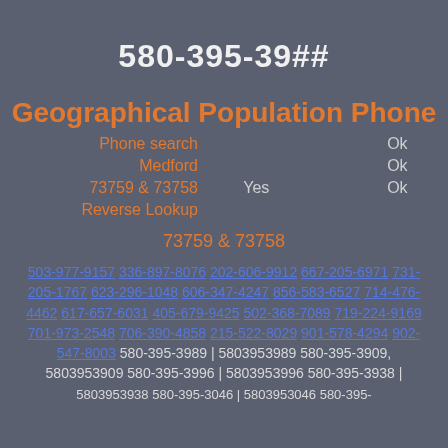580-395-39##
Geographical Population Phone
| Phone search |  | Ok |
| Medford |  | Ok |
| 73759 & 73758 | Yes | Ok |
| Reverse Lookup |  |  |
73759 & 73758
503-977-9157 336-897-8076 202-606-9912 667-205-6971 731-205-1767 623-296-1048 606-347-4247 856-583-6527 714-476-4462 617-657-6031 405-679-9425 502-368-7089 719-224-9169 701-973-2548 706-390-4858 215-522-8029 901-578-4294 902-547-8003 580-395-3989 | 5803953989 580-395-3909, 5803953909 580-395-3996 | 5803953996 580-395-3938 | 5803953938 580-395-3046 | 5803953046 580-395-